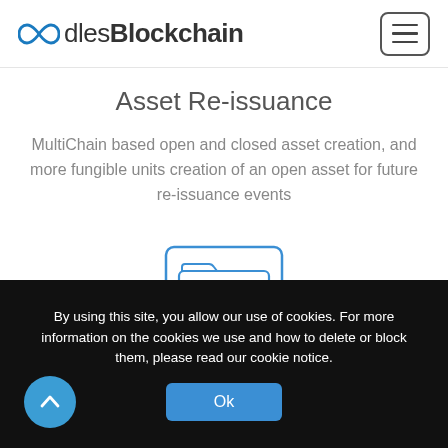OodlesBlockchain
Asset Re-issuance
MultiChain based open and closed asset creation, and more fungible units creation of an open asset for future re-issuance events
[Figure (illustration): Icon of a folder/file system with a checkmark badge, rendered in blue outline style.]
By using this site, you allow our use of cookies. For more information on the cookies we use and how to delete or block them, please read our cookie notice.